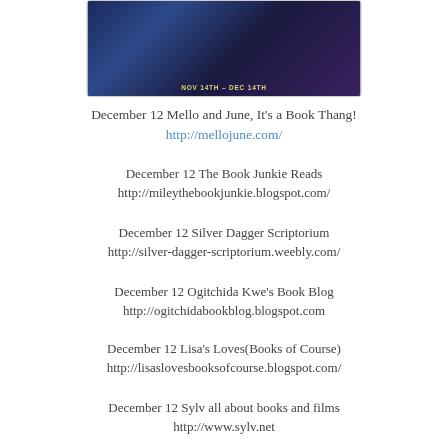[Figure (photo): Promotional banner image with dark blue/purple background, showing character figures and book covers, text 'NOV 14TH - DEC 14TH']
December 12 Mello and June, It's a Book Thang!
http://mellojune.com/
December 12 The Book Junkie Reads
http://mileythebookjunkie.blogspot.com/
December 12 Silver Dagger Scriptorium
http://silver-dagger-scriptorium.weebly.com/
December 12 Ogitchida Kwe's Book Blog
http://ogitchidabookblog.blogspot.com
December 12 Lisa's Loves(Books of Course)
http://lisaslovesbooksofcourse.blogspot.com/
December 12 Sylv all about books and films
http://www.sylv.net